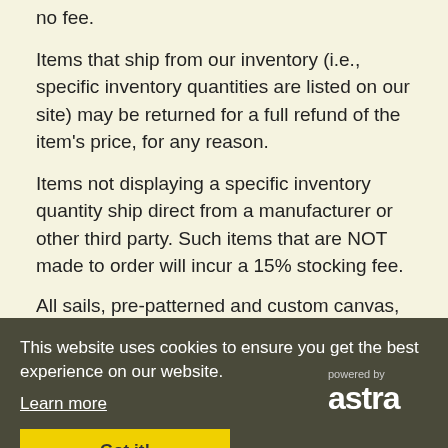no fee.
Items that ship from our inventory (i.e., specific inventory quantities are listed on our site) may be returned for a full refund of the item's price, for any reason.
Items not displaying a specific inventory quantity ship direct from a manufacturer or other third party. Such items that are NOT made to order will incur a 15% stocking fee.
All sails, pre-patterned and custom canvas, rudders by model, pre-patterned and custom cushions, tillers by model, or any product fabricated specifically for your order is subject to a 35% stocking fee. The fee is waived for warranty and fit issues, of course.
[Figure (other): Cookie consent banner overlay with dark background, text 'This website uses cookies to ensure you get the best experience on our website.' with 'Learn more' link and 'Got it!' yellow button. Also shows 'powered by astra' logo in corner.]
Any product built to YOUR specifications, including but not limited to certain rigging products, custom anchor rollers, custom mainsail covers, pedestal covers, as well as